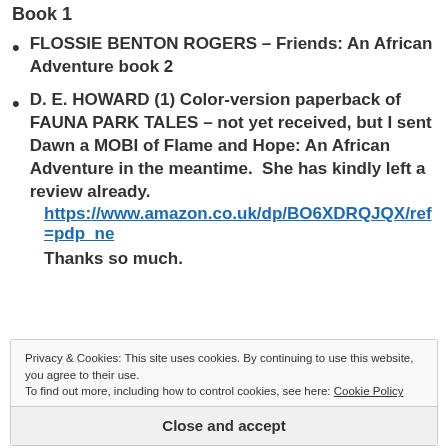Book 1
FLOSSIE BENTON ROGERS – Friends: An African Adventure book 2
D. E. HOWARD (1) Color-version paperback of FAUNA PARK TALES – not yet received, but I sent Dawn a MOBI of Flame and Hope: An African Adventure in the meantime.  She has kindly left a review already. https://www.amazon.co.uk/dp/BO6XDRQJQX/ref=pdp_ne Thanks so much.
Privacy & Cookies: This site uses cookies. By continuing to use this website, you agree to their use. To find out more, including how to control cookies, see here: Cookie Policy
Close and accept